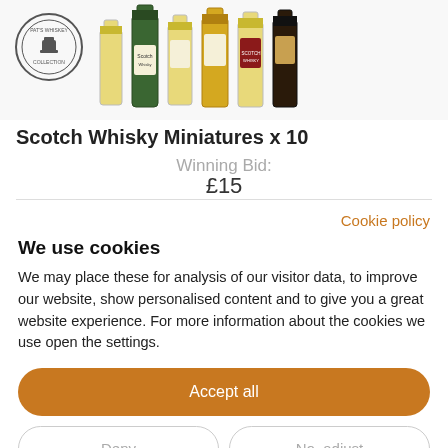[Figure (photo): Photo of Pat's Whisky Collection logo (circular stamp) and multiple Scotch whisky miniature bottles lined up]
Scotch Whisky Miniatures x 10
Winning Bid:
£15
Cookie policy
We use cookies
We may place these for analysis of our visitor data, to improve our website, show personalised content and to give you a great website experience. For more information about the cookies we use open the settings.
Accept all
Deny
No, adjust